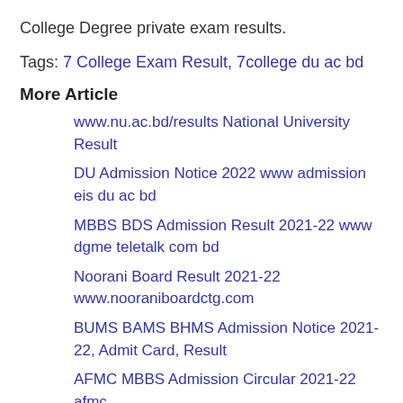College Degree private exam results.
Tags: 7 College Exam Result, 7college du ac bd
More Article
www.nu.ac.bd/results National University Result
DU Admission Notice 2022 www admission eis du ac bd
MBBS BDS Admission Result 2021-22 www dgme teletalk com bd
Noorani Board Result 2021-22 www.nooraniboardctg.com
BUMS BAMS BHMS Admission Notice 2021-22, Admit Card, Result
AFMC MBBS Admission Circular 2021-22 afmc